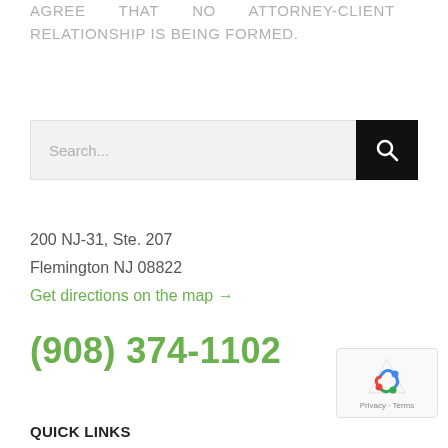AGREE THAT NO ATTORNEY-CLIENT RELATIONSHIP IS BEING FORMED.
[Figure (screenshot): Search input bar with magnifying glass button on black background]
200 NJ-31, Ste. 207
Flemington NJ 08822
Get directions on the map →
(908) 374-1102
QUICK LINKS
[Figure (logo): reCAPTCHA badge with Privacy and Terms text]